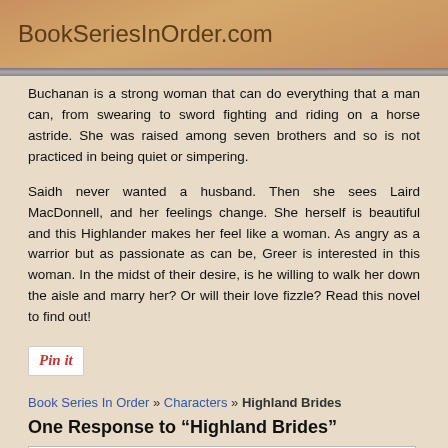BookSeriesInOrder.com
Buchanan is a strong woman that can do everything that a man can, from swearing to sword fighting and riding on a horse astride. She was raised among seven brothers and so is not practiced in being quiet or simpering.

Saidh never wanted a husband. Then she sees Laird MacDonnell, and her feelings change. She herself is beautiful and this Highlander makes her feel like a woman. As angry as a warrior but as passionate as can be, Greer is interested in this woman. In the midst of their desire, is he willing to walk her down the aisle and marry her? Or will their love fizzle? Read this novel to find out!
[Figure (logo): Pin it button]
Book Series In Order » Characters » Highland Brides
One Response to “Highland Brides”
Cheryl dale: 1 year ago